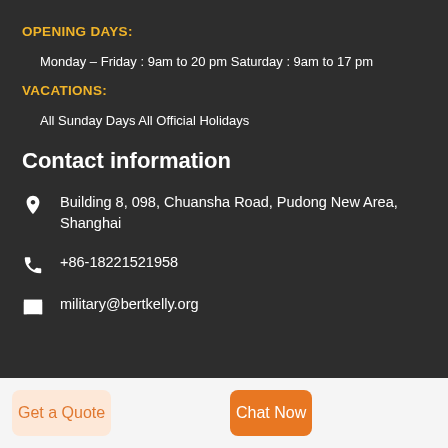OPENING DAYS:
Monday – Friday : 9am to 20 pm Saturday : 9am to 17 pm
VACATIONS:
All Sunday Days All Official Holidays
Contact information
Building 8, 098, Chuansha Road, Pudong New Area, Shanghai
+86-18221521958
military@bertkelly.org